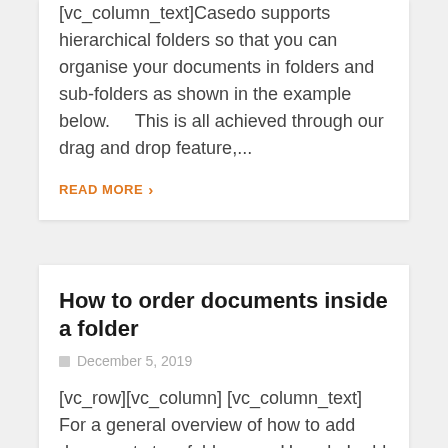[vc_column_text]Casedo supports hierarchical folders so that you can organise your documents in folders and sub-folders as shown in the example below.     This is all achieved through our drag and drop feature,...
READ MORE >
How to order documents inside a folder
December 5, 2019
[vc_row][vc_column] [vc_column_text] For a general overview of how to add documents to a folder, see  How do I add documents & folders to